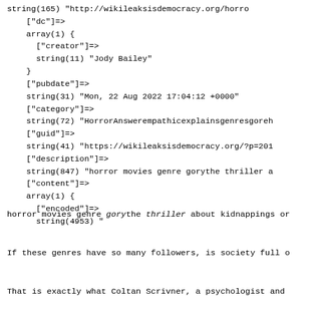string(165) "http://wikileaksisdemocracy.org/horror"
    ["dc"]=>
    array(1) {
      ["creator"]=>
      string(11) "Jody Bailey"
    }
    ["pubdate"]=>
    string(31) "Mon, 22 Aug 2022 17:04:12 +0000"
    ["category"]=>
    string(72) "HorrorAnswerempathicexplainsgenresgoreh"
    ["guid"]=>
    string(41) "https://wikileaksisdemocracy.org/?p=201"
    ["description"]=>
    string(847) "horror movies genre gorythe thriller a"
    ["content"]=>
    array(1) {
      ["encoded"]=>
      string(4953) "
horror movies genre gorythe thriller about kidnappings or
If these genres have so many followers, is society full o
That is exactly what Coltan Scrivner, a psychologist and